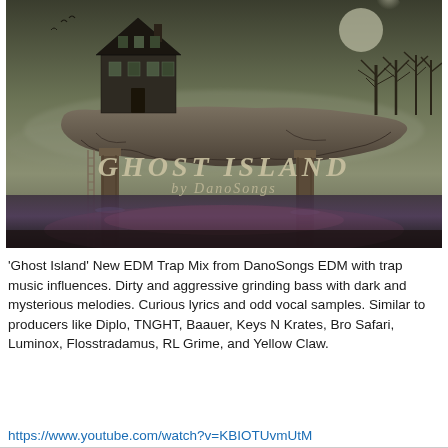[Figure (illustration): Album artwork for 'Ghost Island' by DanoSongs. A dark, eerie image showing a floating rocky island with a Victorian house on top, bare trees, fog/mist, birds flying, the island supported by two tall wooden posts rising from dark water below. Text overlay reads 'GHOST ISLAND by DanoSongs' in gothic/decorative font.]
'Ghost Island' New EDM Trap Mix from DanoSongs EDM with trap music influences. Dirty and aggressive grinding bass with dark and mysterious melodies. Curious lyrics and odd vocal samples. Similar to producers like Diplo, TNGHT, Baauer, Keys N Krates, Bro Safari, Luminox, Flosstradamus, RL Grime, and Yellow Claw.
https://www.youtube.com/watch?v=KBIOTUvmUtM